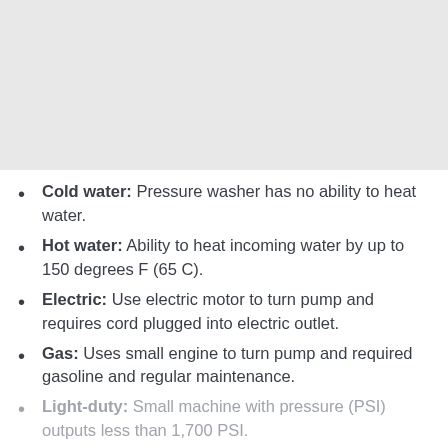[Figure (other): Gray placeholder image area at the top of the page]
Cold water: Pressure washer has no ability to heat water.
Hot water: Ability to heat incoming water by up to 150 degrees F (65 C).
Electric: Use electric motor to turn pump and requires cord plugged into electric outlet.
Gas: Uses small engine to turn pump and required gasoline and regular maintenance.
Light-duty: Small machine with pressure (PSI) outputs less than 1,700 PSI.